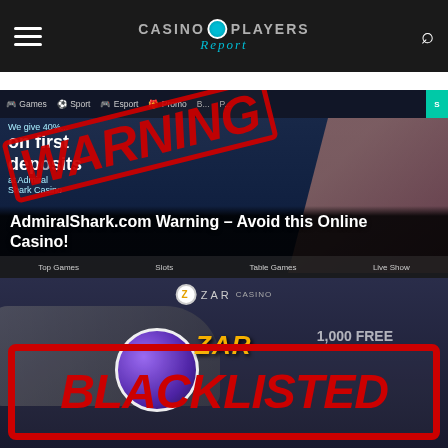Casino Players Report
[Figure (screenshot): AdmiralShark.com casino screenshot with a large red WARNING stamp overlaid diagonally. The casino interface shows navigation tabs (Games, Sport, Esport, Promo) and promotional text 'We give 40%... on first deposits... at AdmiralShark Casino'. Title overlaid at bottom reads: AdmiralShark.com Warning – Avoid this Online Casino!]
[Figure (screenshot): Zar Casino screenshot showing a car, ZAR casino ball logo, and casino branding. A red BLACKLISTED stamp is overlaid in a rectangular border across the lower portion of the image.]